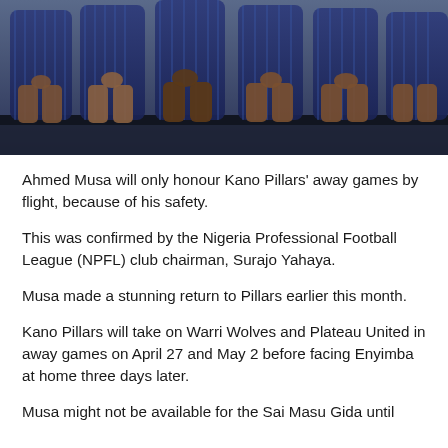[Figure (photo): A group of football players wearing navy blue striped kits seated on a bench, showing their torsos and legs from approximately chest/shoulder level down.]
Ahmed Musa will only honour Kano Pillars' away games by flight, because of his safety.
This was confirmed by the Nigeria Professional Football League (NPFL) club chairman, Surajo Yahaya.
Musa made a stunning return to Pillars earlier this month.
Kano Pillars will take on Warri Wolves and Plateau United in away games on April 27 and May 2 before facing Enyimba at home three days later.
Musa might not be available for the Sai Masu Gida until